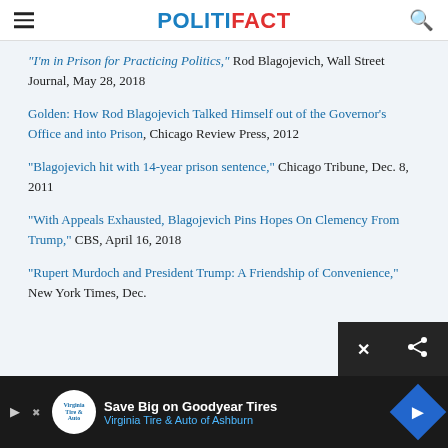POLITIFACT
"I'm in Prison for Practicing Politics," Rod Blagojevich, Wall Street Journal, May 28, 2018
Golden: How Rod Blagojevich Talked Himself out of the Governor's Office and into Prison, Chicago Review Press, 2012
"Blagojevich hit with 14-year prison sentence," Chicago Tribune, Dec. 8, 2011
"With Appeals Exhausted, Blagojevich Pins Hopes On Clemency From Trump," CBS, April 16, 2018
"Rupert Murdoch and President Trump: A Friendship of Convenience," New York Times, Dec.